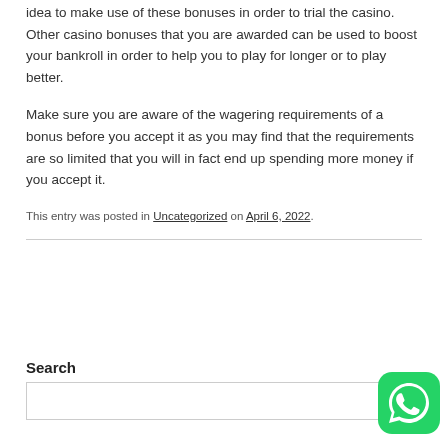idea to make use of these bonuses in order to trial the casino. Other casino bonuses that you are awarded can be used to boost your bankroll in order to help you to play for longer or to play better.
Make sure you are aware of the wagering requirements of a bonus before you accept it as you may find that the requirements are so limited that you will in fact end up spending more money if you accept it.
This entry was posted in Uncategorized on April 6, 2022.
Search